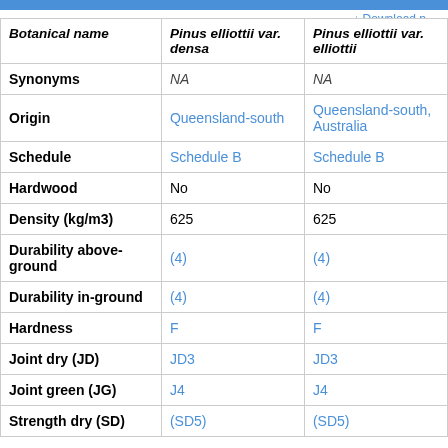| Botanical name | Pinus elliottii var. densa | Pinus elliottii var. elliottii |
| --- | --- | --- |
| Synonyms | NA | NA |
| Origin | Queensland-south | Queensland-south, Australia |
| Schedule | Schedule B | Schedule B |
| Hardwood | No | No |
| Density (kg/m3) | 625 | 625 |
| Durability above-ground | (4) | (4) |
| Durability in-ground | (4) | (4) |
| Hardness | F | F |
| Joint dry (JD) | JD3 | JD3 |
| Joint green (JG) | J4 | J4 |
| Strength dry (SD) | (SD5) | (SD5) |